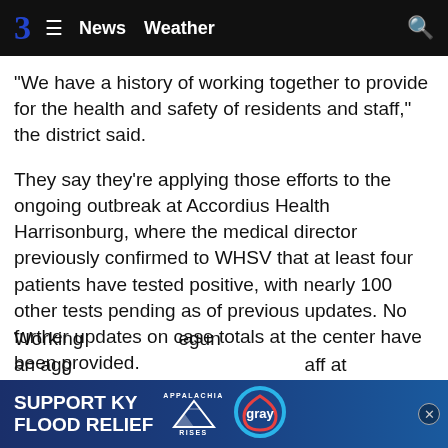3  ≡  News  Weather  🔍
"We have a history of working together to provide for the health and safety of residents and staff," the district said.
They say they're applying those efforts to the ongoing outbreak at Accordius Health Harrisonburg, where the medical director previously confirmed to WHSV that at least four patients have tested positive, with nearly 100 other tests pending as of previous updates. No further updates on case totals at the center have been provided.
The health district says their response has been coordinated with Accordius Health, the Virginia Department of Health, local first responders, and the local hospital system.
Working... begun an agg... staff at
[Figure (infographic): SUPPORT KY FLOOD RELIEF advertisement banner with Appalachia Rises mountain logo and Gray television network logo]